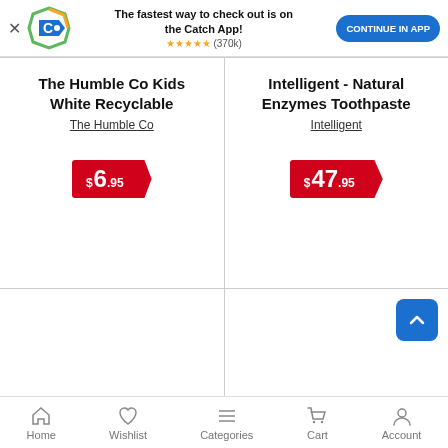[Figure (screenshot): Catch app promotional banner with logo, text 'The fastest way to check out is on the Catch App!', star rating (370k), and 'CONTINUE IN APP' button]
The Humble Co Kids White Recyclable
The Humble Co
$6.95
Intelligent - Natural Enzymes Toothpaste
Intelligent
$47.95
[Figure (photo): Red Seal propolis toothpaste box]
[Figure (photo): Snappy Jaws nipper raspberry kids toothpaste box]
Home  Wishlist  Categories  Cart  Account